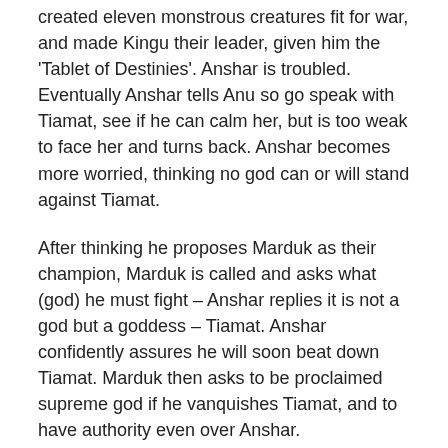created eleven monstrous creatures fit for war, and made Kingu their leader, given him the 'Tablet of Destinies'. Anshar is troubled. Eventually Anshar tells Anu so go speak with Tiamat, see if he can calm her, but is too weak to face her and turns back. Anshar becomes more worried, thinking no god can or will stand against Tiamat.
After thinking he proposes Marduk as their champion, Marduk is called and asks what (god) he must fight – Anshar replies it is not a god but a goddess – Tiamat. Anshar confidently assures he will soon beat down Tiamat. Marduk then asks to be proclaimed supreme god if he vanquishes Tiamat, and to have authority even over Anshar.
Tablet 3
Anshar speaks to Gaga his advisor, tells him to fetch